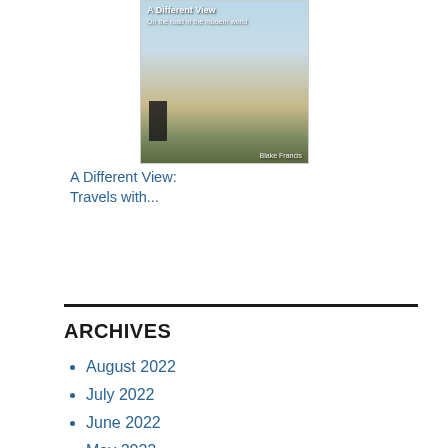[Figure (photo): Book cover for 'A Different View: Travels with...' showing a landscape with blue sky, dry fields, and a dark figure in the foreground with green shrubs]
A Different View: Travels with...
[Figure (other): Amazon 'Shop now' button with black Amazon logo box on left and gold/yellow background]
ARCHIVES
August 2022
July 2022
June 2022
May 2022